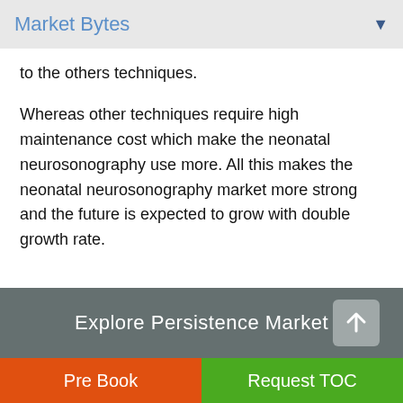Market Bytes
to the others techniques.
Whereas other techniques require high maintenance cost which make the neonatal neurosonography use more. All this makes the neonatal neurosonography market more strong and the future is expected to grow with double growth rate.
Explore Persistence Market
Pre Book
Request TOC